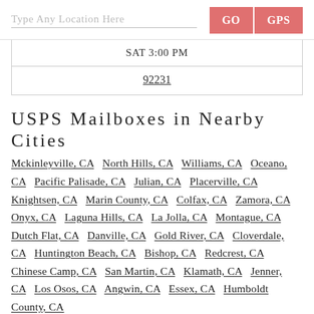Type Any Location Here  GO  GPS
| SAT 3:00 PM |
| 92231 |
USPS Mailboxes in Nearby Cities
Mckinleyville, CA  North Hills, CA  Williams, CA  Oceano, CA  Pacific Palisade, CA  Julian, CA  Placerville, CA  Knightsen, CA  Marin County, CA  Colfax, CA  Zamora, CA  Onyx, CA  Laguna Hills, CA  La Jolla, CA  Montague, CA  Dutch Flat, CA  Danville, CA  Gold River, CA  Cloverdale, CA  Huntington Beach, CA  Bishop, CA  Redcrest, CA  Chinese Camp, CA  San Martin, CA  Klamath, CA  Jenner, CA  Los Osos, CA  Angwin, CA  Essex, CA  Humboldt County, CA
USPS Mailboxes in Nearby Zip Codes